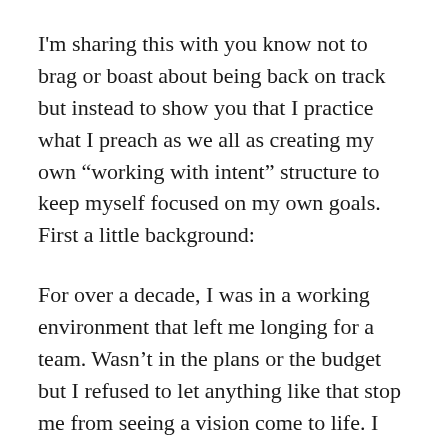I'm sharing this with you know not to brag or boast about being back on track but instead to show you that I practice what I preach as we all as creating my own “working with intent” structure to keep myself focused on my own goals. First a little background:
For over a decade, I was in a working environment that left me longing for a team. Wasn’t in the plans or the budget but I refused to let anything like that stop me from seeing a vision come to life. I wanted to create a television show that was normally comprised of at least ten people to handle the heavy lifting (writing, producing, directing, filming,